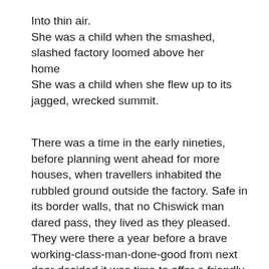Into thin air.
She was a child when the smashed, slashed factory loomed above her home
She was a child when she flew up to its jagged, wrecked summit.
There was a time in the early nineties, before planning went ahead for more houses, when travellers inhabited the rubbled ground outside the factory. Safe in its border walls, that no Chiswick man dared pass, they lived as they pleased. They were there a year before a brave working-class-man-done-good from next door decided it was time to offer a friendly handshake. They say curiosity killed the cat but for Tony it